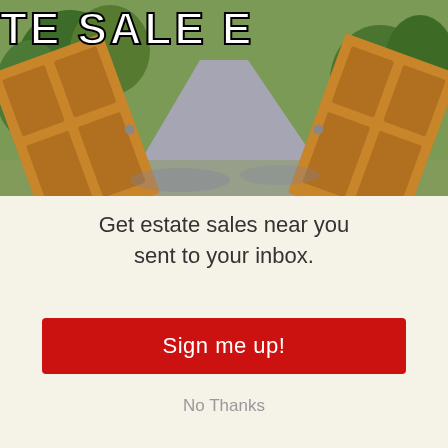[Figure (photo): Photo of double wooden doors open wide revealing a sunlit outdoor path with trees and greenery, with partial headline text 'ESTATE SALE E...' visible at top]
Get estate sales near you sent to your inbox.
Sign me up!
No Thanks